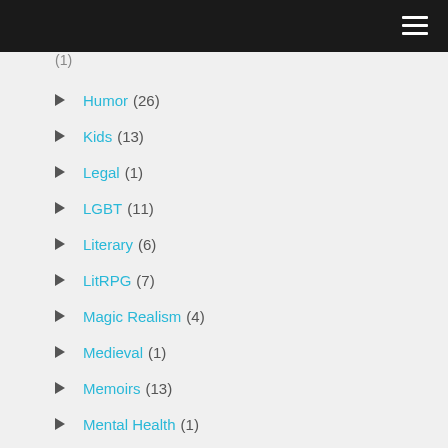Navigation menu header bar
Humor (26)
Kids (13)
Legal (1)
LGBT (11)
Literary (6)
LitRPG (7)
Magic Realism (4)
Medieval (1)
Memoirs (13)
Mental Health (1)
Military Science-Fiction (10)